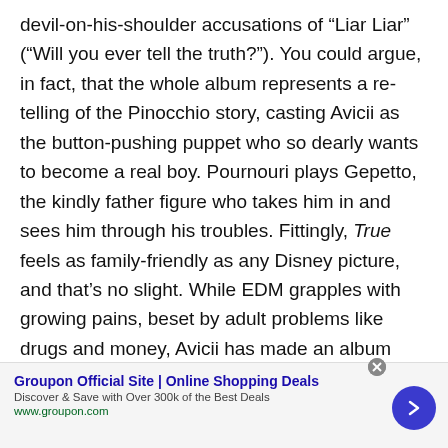devil-on-his-shoulder accusations of “Liar Liar” (“Will you ever tell the truth?”). You could argue, in fact, that the whole album represents a re-telling of the Pinocchio story, casting Avicii as the button-pushing puppet who so dearly wants to become a real boy. Pournouri plays Gepetto, the kindly father figure who takes him in and sees him through his troubles. Fittingly, True feels as family-friendly as any Disney picture, and that’s no slight. While EDM grapples with growing pains, beset by adult problems like drugs and money, Avicii has made an album with the kind of pure pop heart that’s as likely to appeal to eight-year-olds as it is to amped-up ravers.
Groupon Official Site | Online Shopping Deals
Discover & Save with Over 300k of the Best Deals
www.groupon.com